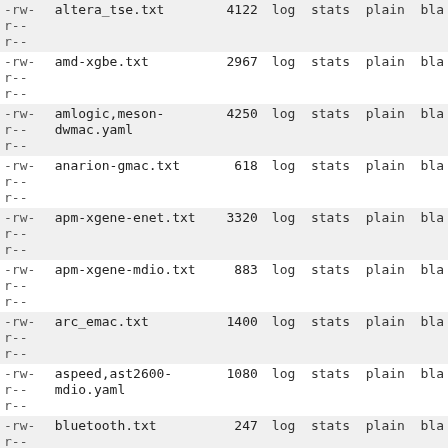| perms | filename | size | actions |
| --- | --- | --- | --- |
| -rw-
r--
r-- | altera_tse.txt | 4122 | log stats plain bla |
| -rw-
r--
r-- | amd-xgbe.txt | 2967 | log stats plain bla |
| -rw-
r--
r-- | amlogic,meson-dwmac.yaml | 4250 | log stats plain bla |
| -rw-
r--
r-- | anarion-gmac.txt | 618 | log stats plain bla |
| -rw-
r--
r-- | apm-xgene-enet.txt | 3320 | log stats plain bla |
| -rw-
r--
r-- | apm-xgene-mdio.txt | 883 | log stats plain bla |
| -rw-
r--
r-- | arc_emac.txt | 1400 | log stats plain bla |
| -rw-
r--
r-- | aspeed,ast2600-mdio.yaml | 1080 | log stats plain bla |
| -rw-
r--
r-- | bluetooth.txt | 247 | log stats plain bla |
| -rw-
r--
r-- | brcm,amac.txt | 984 | log stats plain bla |